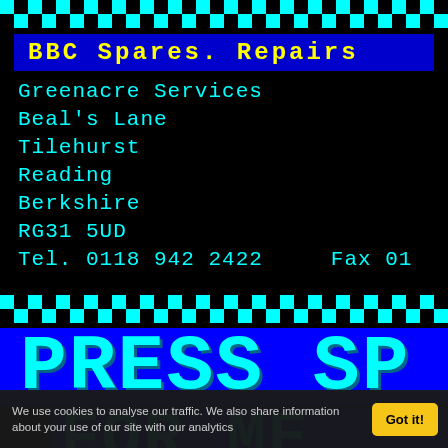[Figure (illustration): Cyan and black checkerboard/zigzag decorative border strip at top of page]
BBC Spares. Repairs
[Figure (illustration): Cyan and black checkerboard/zigzag decorative border strip]
Greenacre Services
Beal's Lane
Tilehurst
Reading
Berkshire
RG31 5UD
Tel. 0118 942 2422     Fax 01
[Figure (illustration): Cyan and black checkerboard/zigzag decorative border strip]
[Figure (illustration): Blue background bar with large cyan pixel/block text reading PRESS SP (truncated)]
[Figure (illustration): Blue background bar with large cyan pixel/block text reading FOR ME (truncated)]
We use cookies to analyse our traffic. We also share information about your use of our site with our analytics